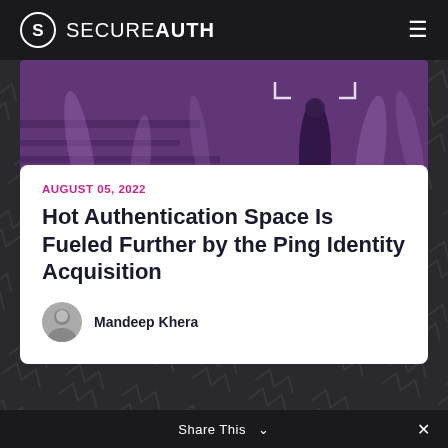SECUREAUTH
[Figure (photo): Purple-tinted photo of a man standing still in a busy crowd of blurred pedestrians, with a digital tracking bracket overlay on the man]
AUGUST 05, 2022
Hot Authentication Space Is Fueled Further by the Ping Identity Acquisition
Mandeep Khera
Share This  ×